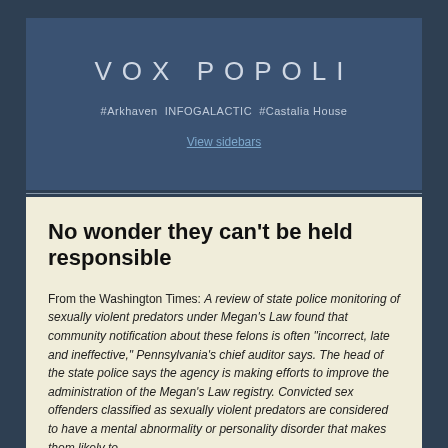VOX POPOLI
#Arkhaven INFOGALACTIC #Castalia House
View sidebars
No wonder they can't be held responsible
From the Washington Times: A review of state police monitoring of sexually violent predators under Megan's Law found that community notification about these felons is often "incorrect, late and ineffective," Pennsylvania's chief auditor says. The head of the state police says the agency is making efforts to improve the administration of the Megan's Law registry. Convicted sex offenders classified as sexually violent predators are considered to have a mental abnormality or personality disorder that makes them likely to